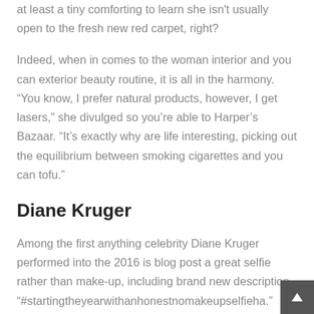at least a tiny comforting to learn she isn't usually open to the fresh new red carpet, right?
Indeed, when in comes to the woman interior and you can exterior beauty routine, it is all in the harmony. “You know, I prefer natural products, however, I get lasers,” she divulged so you’re able to Harper’s Bazaar. “It’s exactly why are life interesting, picking out the equilibrium between smoking cigarettes and you can tofu.”
Diane Kruger
Among the first anything celebrity Diane Kruger performed into the 2016 is blog post a great selfie rather than make-up, including brand new description, “#startingtheyearwithanhonestnomakeupselfieha.” There is absolutely no matter this celebrity and you can previous model was an organic beauty.